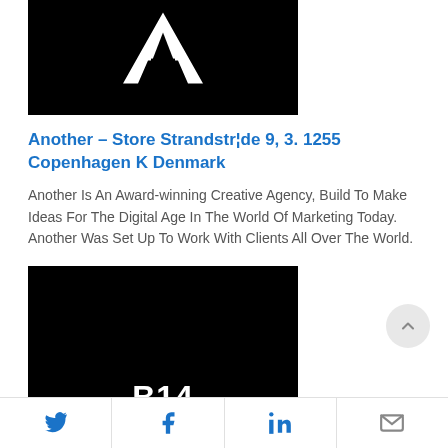[Figure (logo): Black square logo with white letter A (arch shape) centered]
Another – Store Strandstr¦de 9, 3. 1255 Copenhagen K Denmark
Another Is An Award-winning Creative Agency, Build To Make Ideas For The Digital Age In The World Of Marketing Today. Another Was Set Up To Work With Clients All Over The World.
[Figure (photo): Black image with white bold text B14 centered]
Twitter | Facebook | LinkedIn | Email (share buttons)